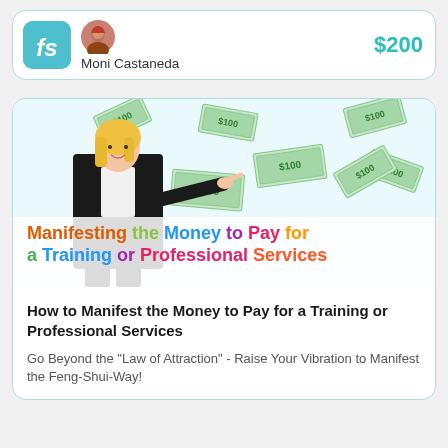[Figure (logo): FS logo in teal rounded square with italic fs text]
Moni Castaneda
$200
[Figure (illustration): Promotional image showing a blonde woman in a suit pointing at flying dollar bills with colorful text: Manifesting the Money to Pay for a Training or Professional Services]
How to Manifest the Money to Pay for a Training or Professional Services
Go Beyond the "Law of Attraction" - Raise Your Vibration to Manifest the Feng-Shui-Way!